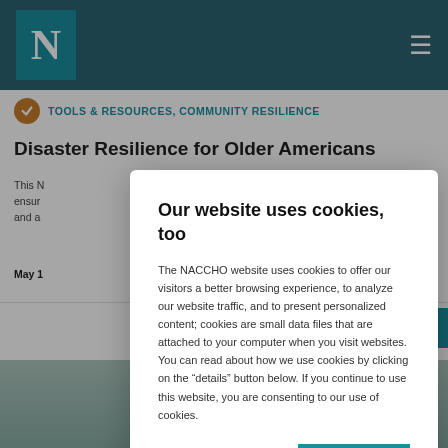NACCHO website header with logo N and navigation menu
TOOLS & RESOURCES, COMMUNITY RESILIENCE
Disaster Resilience for Older Americans
This N... ensur... and a...
May 1...
Our website uses cookies, too
The NACCHO website uses cookies to offer our visitors a better browsing experience, to analyze our website traffic, and to present personalized content; cookies are small data files that are attached to your computer when you visit websites. You can read about how we use cookies by clicking on the "details" button below. If you continue to use this website, you are consenting to our use of cookies.
DETAILS | OK